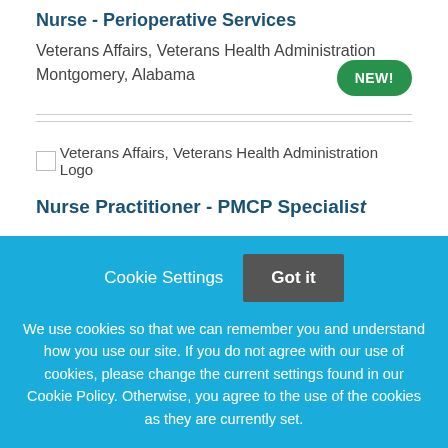Nurse - Perioperative Services
Veterans Affairs, Veterans Health Administration
Montgomery, Alabama
[Figure (logo): Veterans Affairs, Veterans Health Administration Logo]
Nurse Practitioner - PMCP Specialist (partially visible)
Cookie Settings  Got it

We use cookies so that we can remember you and understand how you use our site. If you do not agree with our use of cookies, please change the current settings found in our Cookie Policy. Otherwise, you agree to the use of the cookies as they are currently set.